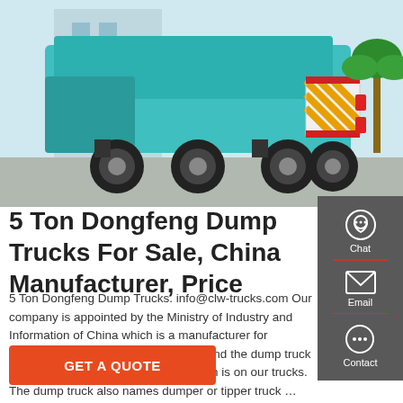[Figure (photo): A teal/blue Dongfeng dump truck photographed from the rear-side angle in an outdoor setting near a building, showing the truck bed, chassis, and six wheels.]
5 Ton Dongfeng Dump Trucks For Sale, China Manufacturer, Price
5 Ton Dongfeng Dump Trucks. info@clw-trucks.com Our company is appointed by the Ministry of Industry and Information of China which is a manufacturer for producing all kinds of special trucks, and the dump truck with chassis, box and hydraulic system is on our trucks. The dump truck also names dumper or tipper truck …
[Figure (infographic): Sidebar panel with dark gray background containing three items: Chat (headset icon), Email (envelope icon), and Contact (speech bubble icon), each separated by a red horizontal divider line.]
GET A QUOTE